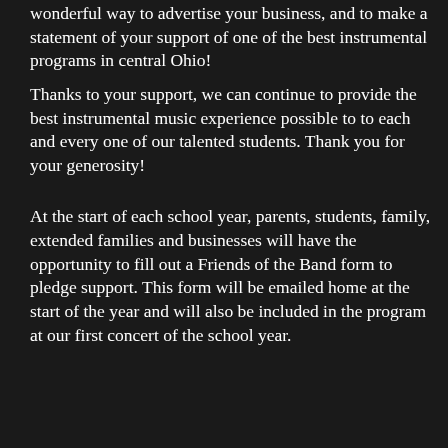wonderful way to advertise your business, and to make a statement of your support of one of the best instrumental programs in central Ohio!
Thanks to your support, we can continue to provide the best instrumental music experience possible to to each and every one of our talented students. Thank you for your generosity!
At the start of each school year, parents, students, family, extended families and businesses will have the opportunity to fill out a Friends of the Band form to pledge support. This form will be emailed home at the start of the year and will also be included in the program at our first concert of the school year.